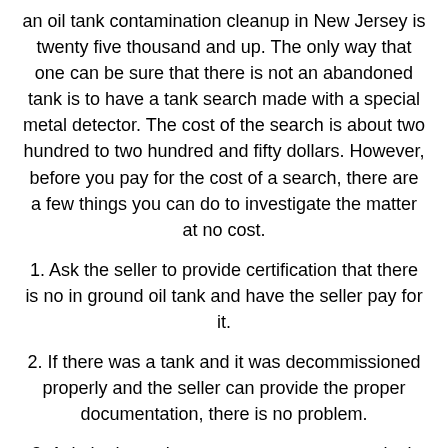an oil tank contamination cleanup in New Jersey is twenty five thousand and up. The only way that one can be sure that there is not an abandoned tank is to have a tank search made with a special metal detector. The cost of the search is about two hundred to two hundred and fifty dollars. However, before you pay for the cost of a search, there are a few things you can do to investigate the matter at no cost.
1. Ask the seller to provide certification that there is no in ground oil tank and have the seller pay for it.
2. If there was a tank and it was decommissioned properly and the seller can provide the proper documentation, there is no problem.
3. Ask the home inspector, as a courtesy, to look for signs